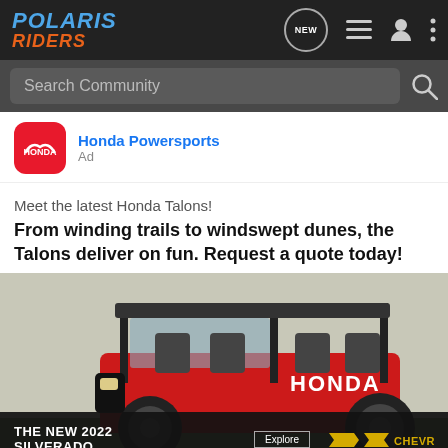POLARIS RIDERS
Search Community
Honda Powersports
Ad
Meet the latest Honda Talons!
From winding trails to windswept dunes, the Talons deliver on fun. Request a quote today!
[Figure (photo): Red and black Honda Talon side-by-side UTV/off-road vehicle with roll cage and black roof, photographed in an outdoor setting. An overlaid advertisement banner shows a Chevrolet Silverado truck with text 'THE NEW 2022 SILVERADO.' and an Explore button and Chevrolet logo.]